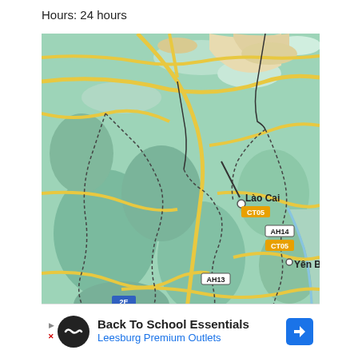Hours: 24 hours
[Figure (map): Map of northern Vietnam showing Lào Cai and Yên Bái with road labels CT05, AH14, AH13, 2E, 6A on a green topographic background with yellow roads]
Back To School Essentials
Leesburg Premium Outlets